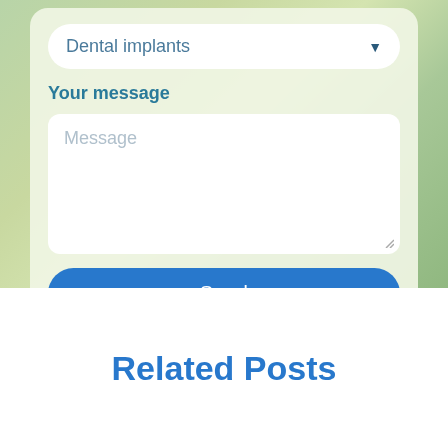[Figure (screenshot): Website form UI with green blurred background. Contains a dropdown field showing 'Dental implants', a 'Your message' label, a message textarea with placeholder text 'Message', and a blue 'Send' button.]
Dental implants
Your message
Message
Send
Related Posts